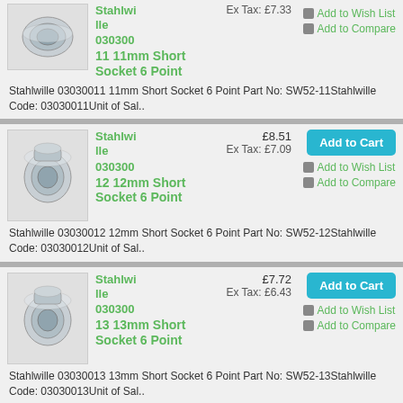[Figure (photo): Chrome socket tool - 11mm short socket 6 point (partial, top of page)]
Stahlwille
030300
11 11mm Short Socket 6 Point
Ex Tax: £7.33
Add to Wish List
Add to Compare
Stahlwille 03030011 11mm Short Socket 6 Point Part No: SW52-11Stahlwille Code: 03030011Unit of Sal..
[Figure (photo): Chrome socket tool - 12mm short socket 6 point]
Stahlwille
030300
12 12mm Short Socket 6 Point
£8.51
Ex Tax: £7.09
Add to Cart
Add to Wish List
Add to Compare
Stahlwille 03030012 12mm Short Socket 6 Point Part No: SW52-12Stahlwille Code: 03030012Unit of Sal..
[Figure (photo): Chrome socket tool - 13mm short socket 6 point]
Stahlwille
030300
13 13mm Short Socket 6 Point
£7.72
Ex Tax: £6.43
Add to Cart
Add to Wish List
Add to Compare
Stahlwille 03030013 13mm Short Socket 6 Point Part No: SW52-13Stahlwille Code: 03030013Unit of Sal..